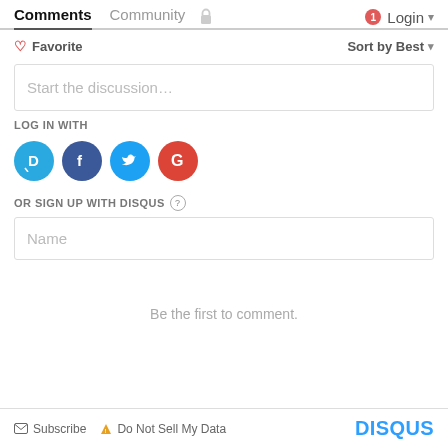Comments  Community  Login
♡ Favorite    Sort by Best ▾
Start the discussion…
LOG IN WITH
[Figure (logo): Social login buttons: Disqus (D), Facebook (f), Twitter bird, Google (G)]
OR SIGN UP WITH DISQUS ?
Name
Be the first to comment.
✉ Subscribe  ▲ Do Not Sell My Data    DISQUS